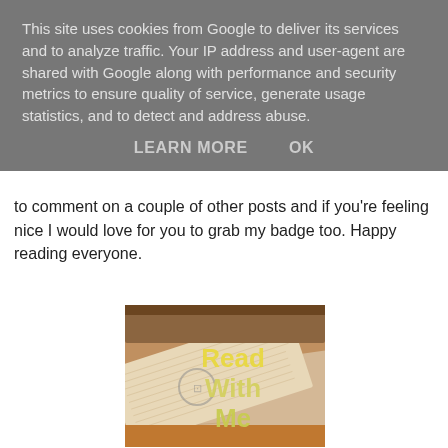This site uses cookies from Google to deliver its services and to analyze traffic. Your IP address and user-agent are shared with Google along with performance and security metrics to ensure quality of service, generate usage statistics, and to detect and address abuse.
LEARN MORE    OK
to comment on a couple of other posts and if you're feeling nice I would love for you to grab my badge too. Happy reading everyone.
[Figure (photo): Photo of stacked open books with yellow text overlay reading 'Read With Me']